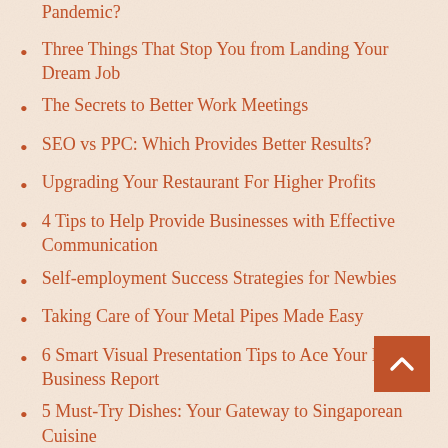Three Things That Stop You from Landing Your Dream Job
The Secrets to Better Work Meetings
SEO vs PPC: Which Provides Better Results?
Upgrading Your Restaurant For Higher Profits
4 Tips to Help Provide Businesses with Effective Communication
Self-employment Success Strategies for Newbies
Taking Care of Your Metal Pipes Made Easy
6 Smart Visual Presentation Tips to Ace Your Next Business Report
5 Must-Try Dishes: Your Gateway to Singaporean Cuisine
4 Ways to Get the Most Out of Your Meetings
Capital Investments: What You Need to Know
Improving Financial Management in Your Business: How To Do It
The Steps to Executing a Successful Merger or